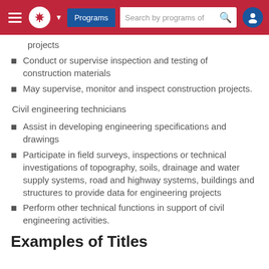Programs | Search by programs of
projects
Conduct or supervise inspection and testing of construction materials
May supervise, monitor and inspect construction projects.
Civil engineering technicians
Assist in developing engineering specifications and drawings
Participate in field surveys, inspections or technical investigations of topography, soils, drainage and water supply systems, road and highway systems, buildings and structures to provide data for engineering projects
Perform other technical functions in support of civil engineering activities.
Examples of Titles